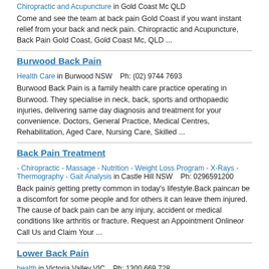Chiropractic and Acupuncture in Gold Coast Mc QLD
Come and see the team at back pain Gold Coast if you want instant relief from your back and neck pain. Chiropractic and Acupuncture, Back Pain Gold Coast, Gold Coast Mc, QLD ...
Burwood Back Pain
Health Care in Burwood NSW    Ph: (02) 9744 7693
Burwood Back Pain is a family health care practice operating in Burwood. They specialise in neck, back, sports and orthopaedic injuries, delivering same day diagnosis and treatment for your convenience. Doctors, General Practice, Medical Centres, Rehabilitation, Aged Care, Nursing Care, Skilled ...
Back Pain Treatment
- Chiropractic - Massage - Nutrition - Weight Loss Program - X-Rays - Thermography - Gait Analysis in Castle Hill NSW    Ph: 0296591200
Back painis getting pretty common in today’s lifestyle.Back paincan be a discomfort for some people and for others it can leave them injured. The cause of back pain can be any injury, accident or medical conditions like arthritis or fracture. Request an Appointment Onlineor Call Us and Claim Your ...
Lower Back Pain
health in Victoria Valley VIC    Ph: 1300 669 728